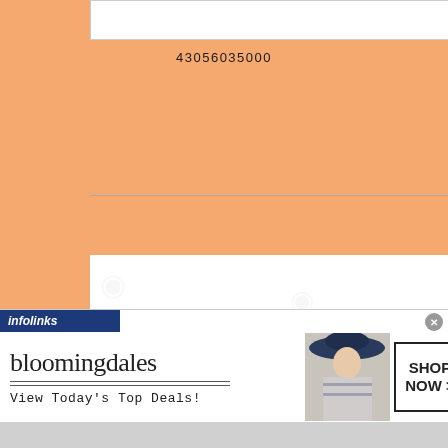43056035000
[Figure (photo): Close-up photo of an American football showing brown leather surface and white laces/stitching at the top, partially cropped]
[Figure (screenshot): Infolinks branded advertisement overlay bar in dark navy blue with 'infolinks' text in white italic]
[Figure (screenshot): Bloomingdale's advertisement banner: logo text 'bloomingdales', tagline 'View Today's Top Deals!', fashion model with large hat, and 'SHOP NOW >' button. Close button (x) in top right corner.]